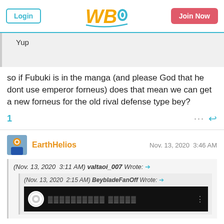Login | WBO | Join Now
Yup
so if Fubuki is in the manga (and please God that he dont use emperor forneus) does that mean we can get a new forneus for the old rival defense type bey?
EarthHelios  Nov. 13, 2020  3:46 AM
(Nov. 13, 2020  3:11 AM) valtaoi_007 Wrote: →
(Nov. 13, 2020  2:15 AM) BeybladeFanOff Wrote: →